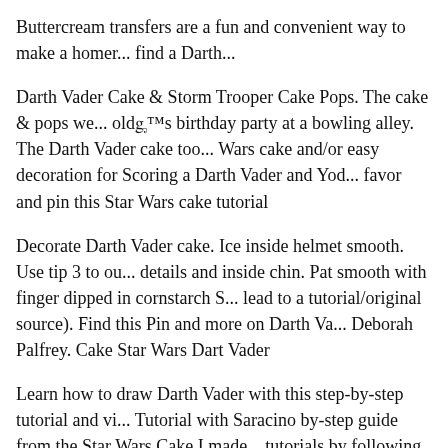Buttercream transfers are a fun and convenient way to make a homer... find a Darth...
Darth Vader Cake & Storm Trooper Cake Pops. The cake & pops we... old's birthday party at a bowling alley. The Darth Vader cake too... Wars cake and/or easy decoration for Scoring a Darth Vader and Yod... favor and pin this Star Wars cake tutorial
Decorate Darth Vader cake. Ice inside helmet smooth. Use tip 3 to ou... details and inside chin. Pat smooth with finger dipped in cornstarch S... lead to a tutorial/original source). Find this Pin and more on Darth Va... Deborah Palfrey. Cake Star Wars Dart Vader
Learn how to draw Darth Vader with this step-by-step tutorial and vi... Tutorial with Saracino by-step guide from the Star Wars Cake I made... tutorials by following
15/05/2018B B· Watch videoB B· How to make a Stormtrooper helm... Wars.\rIn this cake decorating tutorial I show you how to make a 3D... Gameplay Cake Tutorials, Star Wars Cake Toppers, Star Wars Cak...